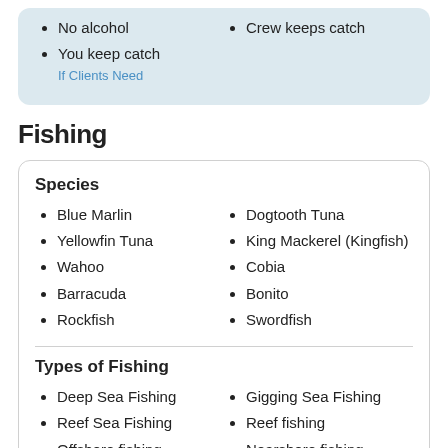No alcohol
You keep catch
If Clients Need
Crew keeps catch
Fishing
Species
Blue Marlin
Yellowfin Tuna
Wahoo
Barracuda
Rockfish
Dogtooth Tuna
King Mackerel (Kingfish)
Cobia
Bonito
Swordfish
Types of Fishing
Deep Sea Fishing
Reef Sea Fishing
Offshore fishing
Gigging Sea Fishing
Reef fishing
Nearshore fishing